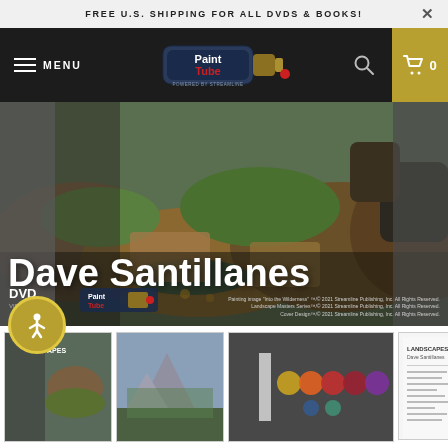FREE U.S. SHIPPING FOR ALL DVDS & BOOKS!
[Figure (logo): PaintTube powered by Streamline logo with paint tube graphic]
[Figure (photo): Hero image showing Dave Santillanes painting of wilderness rocks and grass, with large white text 'Dave Santillanes' overlaid, PaintTube logo and DVD logo visible, copyright text visible]
[Figure (photo): Thumbnail 1: partial view of landscape painting book/DVD cover showing rocks]
[Figure (photo): Thumbnail 2: landscape painting showing mountain valley with trees]
[Figure (photo): Thumbnail 3: dark background with colored paint dots/swatches]
[Figure (photo): Thumbnail 4: white page/document with text 'LANDSCAPES Dave Santillanes']